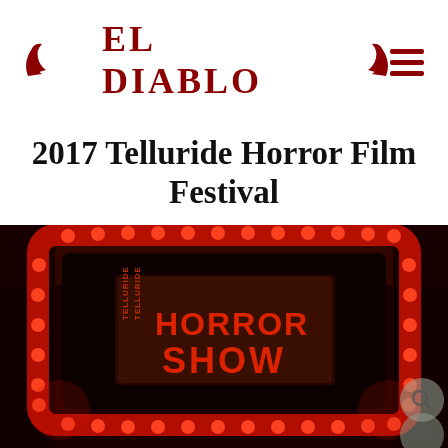EL DIABLO
2017 Telluride Horror Film Festival
[Figure (photo): A dark theater stage with a marquee-style screen outlined in bright red lights displaying 'TELLURIDE HORROR SHOW' text in red on a dark background]